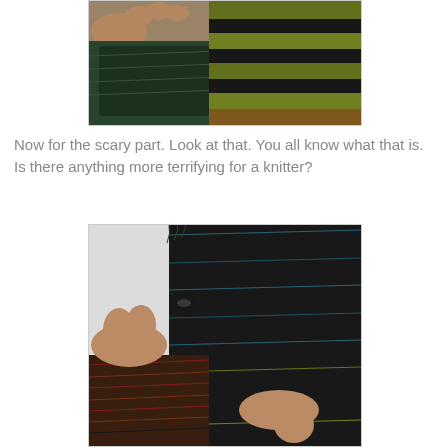[Figure (photo): Close-up photo of knitted fingerless gloves/mittens held in hands, showing dark green fuzzy fabric and striped yellow-olive and black pattern]
Now for the scary part. Look at that. You all know what that is. Is there anything more terrifying for a knitter?
[Figure (photo): Close-up photo of knitted socks or fingerless mitts being held, showing a hole or dropped stitch, with blue-black, teal, and yellow-olive striped pattern, and red-brown striped section visible]